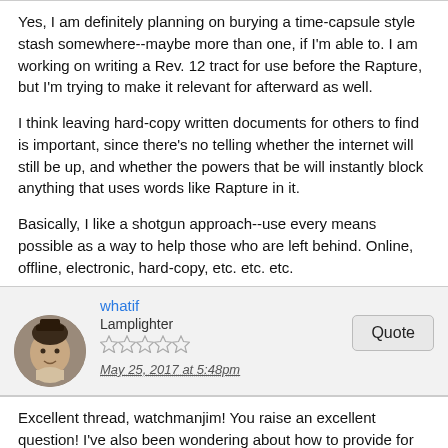Yes, I am definitely planning on burying a time-capsule style stash somewhere--maybe more than one, if I'm able to. I am working on writing a Rev. 12 tract for use before the Rapture, but I'm trying to make it relevant for afterward as well.

I think leaving hard-copy written documents for others to find is important, since there's no telling whether the internet will still be up, and whether the powers that be will instantly block anything that uses words like Rapture in it.

Basically, I like a shotgun approach--use every means possible as a way to help those who are left behind. Online, offline, electronic, hard-copy, etc. etc. etc.
whatif
Lamplighter
May 25, 2017 at 5:48pm
Excellent thread, watchmanjim! You raise an excellent question! I've also been wondering about how to provide for one's pets and farm animals. I know the human souls are the most important of concerns, so I feel a little awkward asking about the animals, but any ideas on that side of the situation too?